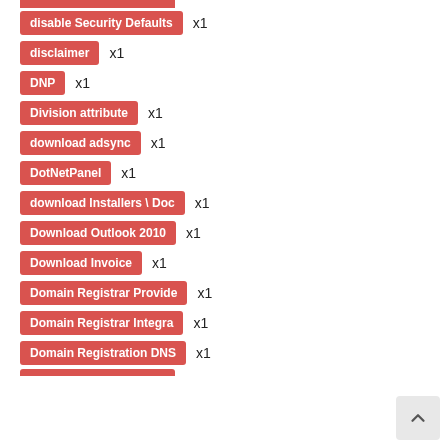disable Security Defaults x1
disclaimer x1
DNP x1
Division attribute x1
download adsync x1
DotNetPanel x1
download Installers \ Doc x1
Download Outlook 2010 x1
Download Invoice x1
Domain Registrar Provider x1
Domain Registrar Integration x1
Domain Registration DNS x1